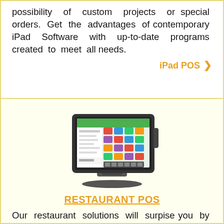possibility of custom projects or special orders. Get the advantages of contemporary iPad Software with up-to-date programs created to meet all needs.
iPad POS >
[Figure (photo): A touchscreen POS terminal with a colorful restaurant software interface displayed on screen, mounted on a black stand/base.]
RESTAURANT POS
Our restaurant solutions will surpise you by the variety of products and SW options created by the best experts. Useful features integrated into the soft. meet all necessities of the